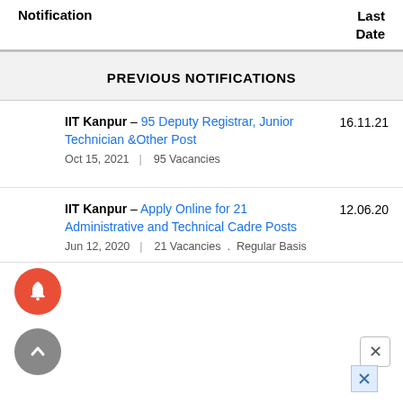Notification | Last Date
PREVIOUS NOTIFICATIONS
IIT Kanpur – 95 Deputy Registrar, Junior Technician &Other Post | 16.11.21 | Oct 15, 2021 | 95 Vacancies
IIT Kanpur – Apply Online for 21 Administrative and Technical Cadre Posts | 12.06.20 | Jun 12, 2020 | 21 Vacancies . Regular Basis